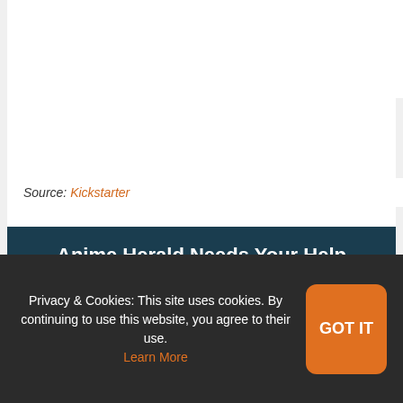The first rule: Never take a loss.
The second rule: Never forget the first.

Only those who follow these rules are able to obtain enormous wealth...
Source: Kickstarter
[Figure (other): Dark teal promotional box for Anime Herald with title 'Anime Herald Needs Your Help' and text 'Since December 2017, we've made it our']
Privacy & Cookies: This site uses cookies. By continuing to use this website, you agree to their use. Learn More